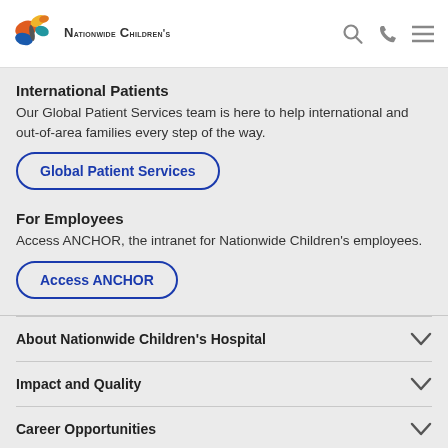Nationwide Children's
International Patients
Our Global Patient Services team is here to help international and out-of-area families every step of the way.
Global Patient Services
For Employees
Access ANCHOR, the intranet for Nationwide Children's employees.
Access ANCHOR
About Nationwide Children's Hospital
Impact and Quality
Career Opportunities